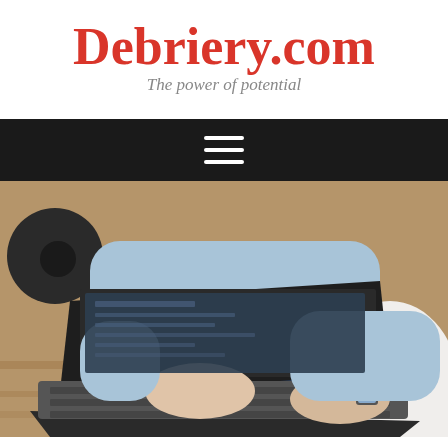Debriery.com
The power of potential
[Figure (other): Black navigation bar with hamburger menu icon (three white horizontal lines)]
[Figure (photo): Person sitting in a white chair using a laptop computer, wearing a light blue shirt, jeans, and a watch. Wooden floor visible in background.]